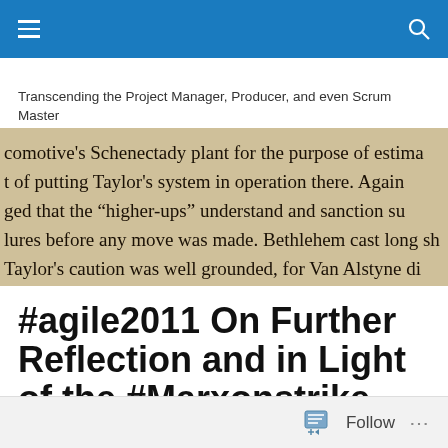Transcending the Project Manager, Producer, and even Scrum Master
[Figure (photo): Cropped photograph of a book page showing text about locomotive's Schenectady plant and Taylor's system]
#agile2011 On Further Reflection and in Light of the #Marxonstrike
Follow ...